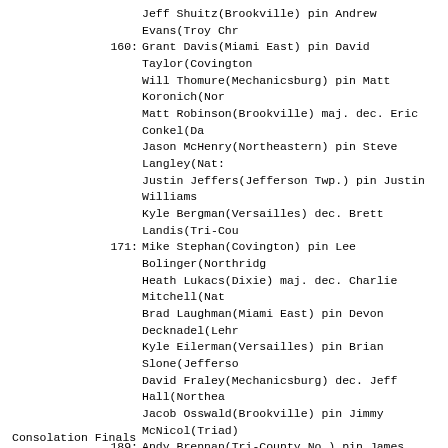160: Grant Davis(Miami East) pin David Taylor(Covington)
    Will Thomure(Mechanicsburg) pin Matt Koronich(Nor
    Matt Robinson(Brookville) maj. dec. Eric Conkel(Da
    Jason McHenry(Northeastern) pin Steve Langley(Nat:
    Justin Jeffers(Jefferson Twp.) pin Justin Williams
    Kyle Bergman(Versailles) dec. Brett Landis(Tri-Cou
171: Mike Stephan(Covington) pin Lee Bolinger(Northridge
    Heath Lukacs(Dixie) maj. dec. Charlie Mitchell(Nat
    Brad Laughman(Miami East) pin Devon Decknadel(Lehr
    Kyle Eilerman(Versailles) pin Brian Slone(Jefferson
    David Fraley(Mechanicsburg) dec. Jeff Hall(Northea
    Jacob Osswald(Brookville) pin Jimmy McNicol(Triad)
189: Andy Brennan(Tri-County No.) pin James Reeves(Nor
    Danny Jewett(Dixie) pin George White(Jefferson Twp
    Seth Curtis(Mechanicsburg) dec. Josh Starry(Miami
    Mark Gall(Brookville) dec. Mark Keiser(Versailles)
215: Dusty Johns(Versailles) pin Dave White(Covington)
    Josh Turner(Brookville) dec. Adam Fitzsimmons(Cath
    Schuyler Lewis(Mechanicsburg) maj. dec. Alan Cast:
    Josh Fulton(Troy Christian) pin Brent Davis(Northr
    Ben Nelson(Miami East) pin David Sorrell(Dixie) 1
    David Dierken(Day. Christian) pin Brandon Platt(Na
275: Ross Parthemore(W. Liberty-Salem) pin Gerald McWho
    Dusty Hess(Covington) pin Brian Sherman(Miami East
    Gabe Stout(Mechanicsburg) dec. Jason Bonham(Troy C
    Quentin Stewart(Cath. Central) pin Brandon Colwell
    Josh Daniel(Brookville) pin Bill DeMange(Versaille
Consolation Finals